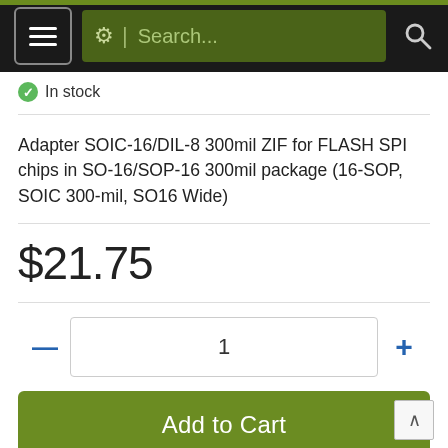[Figure (screenshot): Mobile app navigation bar with hamburger menu, gear/search bar on dark background with green accent bar]
In stock
Adapter SOIC-16/DIL-8 300mil ZIF for FLASH SPI chips in SO-16/SOP-16 300mil package (16-SOP, SOIC 300-mil, SO16 Wide)
$21.75
1
Add to Cart
Ask a question about this product